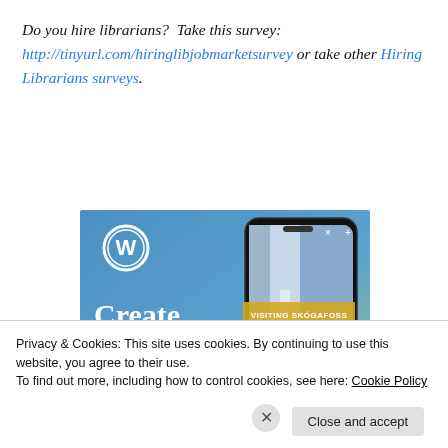Do you hire librarians? Take this survey: http://tinyurl.com/hiringlibjobmarketsurvey or take other Hiring Librarians surveys.
[Figure (illustration): WordPress advertisement showing blue gradient background with WordPress logo, text 'Create immersive stories.' and a smartphone displaying a waterfall image with 'VISITING SKOGAFOSS' overlay]
Privacy & Cookies: This site uses cookies. By continuing to use this website, you agree to their use. To find out more, including how to control cookies, see here: Cookie Policy